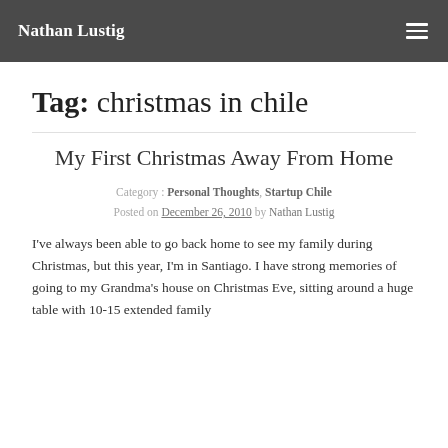Nathan Lustig
Tag: christmas in chile
My First Christmas Away From Home
Category : Personal Thoughts, Startup Chile
Posted on December 26, 2010 by Nathan Lustig
I've always been able to go back home to see my family during Christmas, but this year, I'm in Santiago. I have strong memories of going to my Grandma's house on Christmas Eve, sitting around a huge table with 10-15 extended family